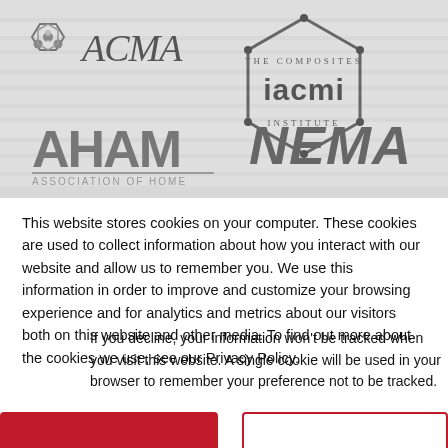[Figure (logo): Banner with logos: ACMA (American Composites Manufacturers Association), IACMI (The Composites Institute), AHAM (Association of Home Appliance Manufacturers), NEMA — all shown in grayscale on a striped gray background]
This website stores cookies on your computer. These cookies are used to collect information about how you interact with our website and allow us to remember you. We use this information in order to improve and customize your browsing experience and for analytics and metrics about our visitors both on this website and other media. To find out more about the cookies we use, see our Privacy Policy.
If you decline, your information won't be tracked when you visit this website. A single cookie will be used in your browser to remember your preference not to be tracked.
Accept  Decline